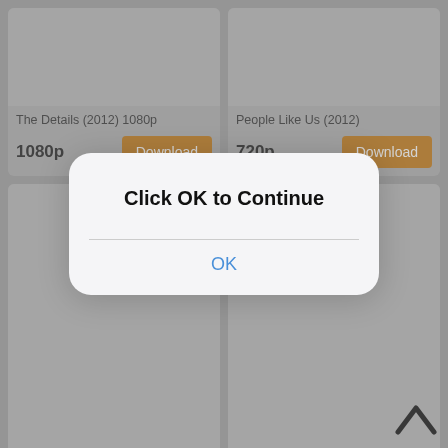[Figure (screenshot): Movie download app grid showing cards: The Details (2012) 1080p, People Like Us (2012) 720p, People Like Us (2012) 1080p, Man on a Ledge (2012) 720p, with Download buttons]
[Figure (screenshot): Modal dialog overlay with text 'Click OK to Continue' and an OK button in blue]